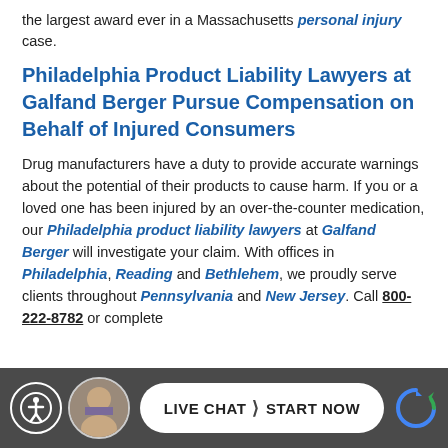the largest award ever in a Massachusetts personal injury case.
Philadelphia Product Liability Lawyers at Galfand Berger Pursue Compensation on Behalf of Injured Consumers
Drug manufacturers have a duty to provide accurate warnings about the potential of their products to cause harm. If you or a loved one has been injured by an over-the-counter medication, our Philadelphia product liability lawyers at Galfand Berger will investigate your claim. With offices in Philadelphia, Reading and Bethlehem, we proudly serve clients throughout Pennsylvania and New Jersey. Call 800-222-8782 or complete
[Figure (other): Website footer bar with accessibility icon, attorney avatar, live chat button, and reCAPTCHA icon]